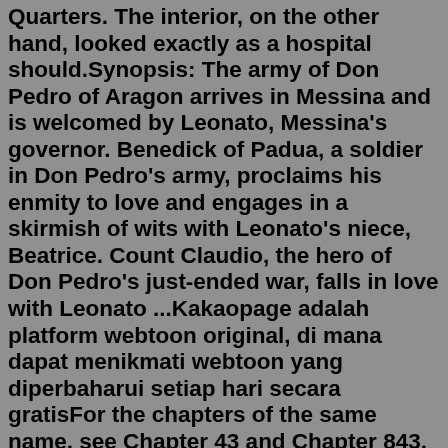Quarters. The interior, on the other hand, looked exactly as a hospital should.Synopsis: The army of Don Pedro of Aragon arrives in Messina and is welcomed by Leonato, Messina's governor. Benedick of Padua, a soldier in Don Pedro's army, proclaims his enmity to love and engages in a skirmish of wits with Leonato's niece, Beatrice. Count Claudio, the hero of Don Pedro's just-ended war, falls in love with Leonato ...Kakaopage adalah platform webtoon original, di mana dapat menikmati webtoon yang diperbaharui setiap hari secara gratisFor the chapters of the same name, see Chapter 43 and Chapter 843. "Black Leg" Sanji, born as Vinsmoke Sanji, is the cook of the Straw Hat Pirates. He is the fifth member of the crew and the fourth to join, doing so at the end of the Baratie Arc. Born as the third son and fourth child of the Vinsmoke Family (thus making him a former prince of the Germa Kingdom), he disowned his family twice ...Your adversary the devil prowls around like a roaring lion, seeking someone to devour. Resist him, firm in your faith,